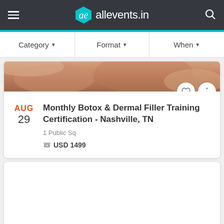allevents.in
Category ▼   Format ▼   When ▼
[Figure (photo): Close-up photo of hands during a medical/beauty training procedure, warm skin tones]
Monthly Botox & Dermal Filler Training Certification - Nashville, TN
1 Public Sq
USD 1499